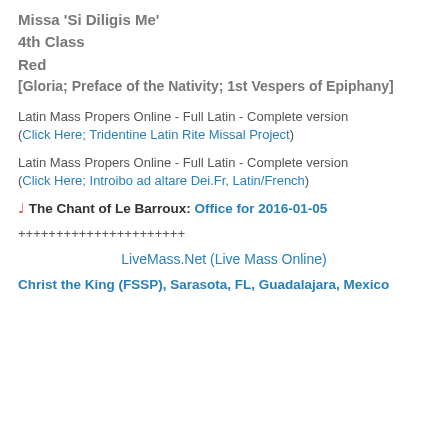Missa 'Si Diligis Me'
4th Class
Red
[Gloria; Preface of the Nativity; 1st Vespers of Epiphany]
Latin Mass Propers Online - Full Latin - Complete version (Click Here; Tridentine Latin Rite Missal Project)
Latin Mass Propers Online - Full Latin - Complete version (Click Here; Introibo ad altare Dei.Fr, Latin/French)
♩ The Chant of Le Barroux: Office for 2016-01-05
++++++++++++++++++++++
LiveMass.Net (Live Mass Online)
Christ the King (FSSP), Sarasota, FL, Guadalajara, Mexico